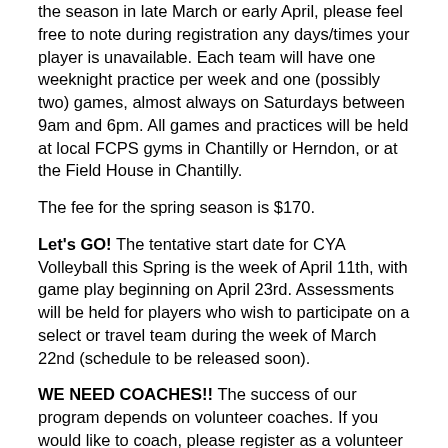the season in late March or early April, please feel free to note during registration any days/times your player is unavailable. Each team will have one weeknight practice per week and one (possibly two) games, almost always on Saturdays between 9am and 6pm. All games and practices will be held at local FCPS gyms in Chantilly or Herndon, or at the Field House in Chantilly.
The fee for the spring season is $170.
Let's GO! The tentative start date for CYA Volleyball this Spring is the week of April 11th, with game play beginning on April 23rd. Assessments will be held for players who wish to participate on a select or travel team during the week of March 22nd (schedule to be released soon).
WE NEED COACHES!! The success of our program depends on volunteer coaches. If you would like to coach, please register as a volunteer at this link: https://www.chantillyyouth.org/registration and/or contact April Day at volleyball@chantillyyouth.org for more details.
We will be updating all of the links to various elements of the program on this page including age group rules